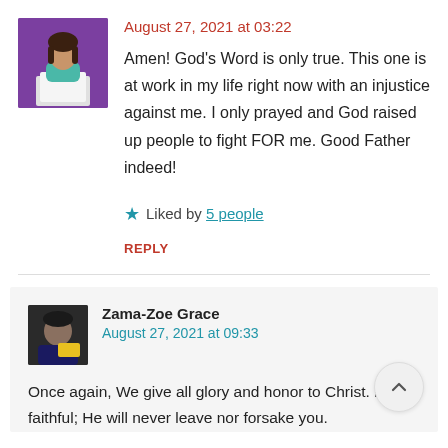[Figure (illustration): Avatar of a woman with dark hair, wearing a teal top, sitting behind a white laptop, with a purple background]
August 27, 2021 at 03:22
Amen! God’s Word is only true. This one is at work in my life right now with an injustice against me. I only prayed and God raised up people to fight FOR me. Good Father indeed!
★ Liked by 5 people
REPLY
[Figure (photo): Thumbnail photo of a person, dark tones, appears to show a close-up face]
Zama-Zoe Grace
August 27, 2021 at 09:33
Once again, We give all glory and honor to Christ. He is faithful; He will never leave nor forsake you.